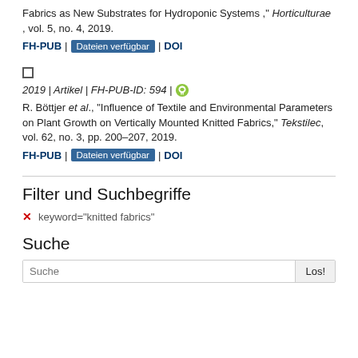Fabrics as New Substrates for Hydroponic Systems," Horticulturae, vol. 5, no. 4, 2019.
FH-PUB | Dateien verfügbar | DOI
2019 | Artikel | FH-PUB-ID: 594 |
R. Böttjer et al., "Influence of Textile and Environmental Parameters on Plant Growth on Vertically Mounted Knitted Fabrics," Tekstilec, vol. 62, no. 3, pp. 200–207, 2019.
FH-PUB | Dateien verfügbar | DOI
Filter und Suchbegriffe
keyword="knitted fabrics"
Suche